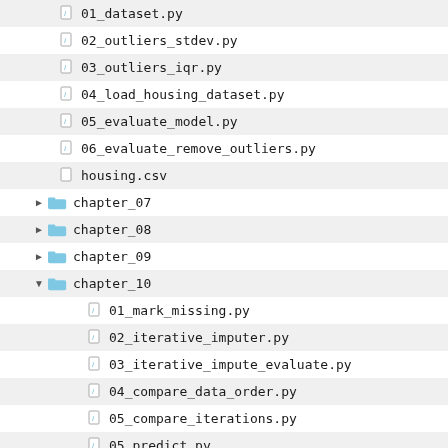[Figure (screenshot): File tree/directory listing screenshot showing Python project files organized into chapters. Shows files: 01_dataset.py, 02_outliers_stdev.py, 03_outliers_iqr.py, 04_load_housing_dataset.py, 05_evaluate_model.py, 06_evaluate_remove_outliers.py, housing.csv, then collapsed folders chapter_07 through chapter_09, expanded chapter_10 with files 01_mark_missing.py, 02_iterative_imputer.py, 03_iterative_impute_evaluate.py, 04_compare_data_order.py, 05_compare_iterations.py, 05_predict.py, horse-colic.csv, then collapsed chapter_11 through chapter_14, and expanded chapter_15 showing 01_dataset_class.py and partially visible 02_rfe_class_eval.py]